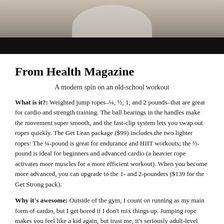[Figure (photo): Top portion of a person's photo with dark band below, serving as article header image]
From Health Magazine
A modern spin on an old-school workout
What is it?: Weighted jump ropes–¼, ½, 1, and 2 pounds–that are great for cardio and strength training. The ball bearings in the handles make the movement super smooth, and the fast-clip system lets you swap out ropes quickly. The Get Lean package ($99) includes the two lighter ropes: The ¼-pound is great for endurance and HIIT workouts; the ½-pound is ideal for beginners and advanced cardio (a heavier rope activates more muscles for a more efficient workout). When you become more advanced, you can upgrade to the 1- and 2-pounders ($139 for the Get Strong pack).
Why it's awesome: Outside of the gym, I count on running as my main form of cardio, but I get bored if I don't mix things up. Jumping rope makes you feel like a kid again, but trust me, it's seriously adult-level exerc… ent workouts